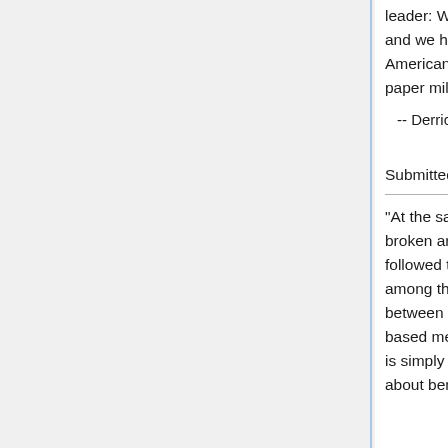leader: We cover far more topics than most other countries do and we have fatter text books. As far as we can tell, the only Americans who benefit from this situation are the owners of paper mills."
-- Derrick Niederman and David Boyum, What the Numbers Say (p. 239)
Submitted by Paul Alper
"At the same time, the company [Roche] was raising the broken arguments that are eerily familiar to anyone who has followed the campaign for greater trials transparency. Key among these was one that cuts to the core of the culture war between evidence-based medicine, and the older 'eminence-based medicine' that we are supposed to have left behind. It is simply not the job of academics to make these decisions about benefit and risk.